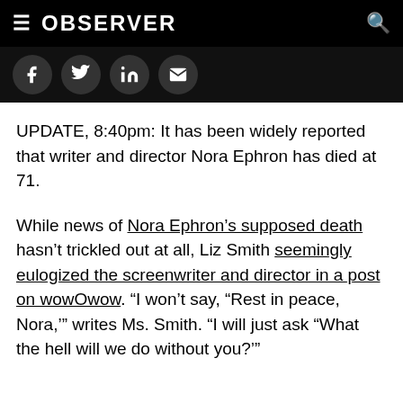≡ OBSERVER 🔍
[Figure (other): Social media share buttons: Facebook, Twitter, LinkedIn, Email — circular dark icons on black background]
UPDATE, 8:40pm: It has been widely reported that writer and director Nora Ephron has died at 71.
While news of Nora Ephron's supposed death hasn't trickled out at all, Liz Smith seemingly eulogized the screenwriter and director in a post on wowOwow. "I won't say, "Rest in peace, Nora,'" writes Ms. Smith. "I will just ask "What the hell will we do without you?"